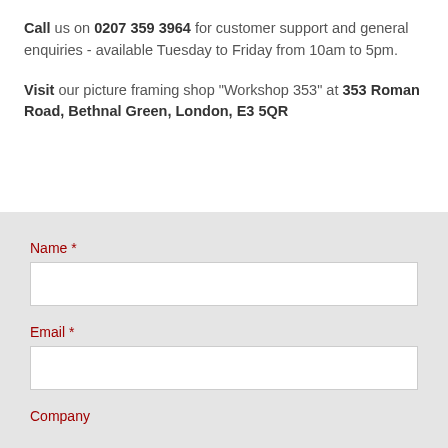Call us on 0207 359 3964 for customer support and general enquiries - available Tuesday to Friday from 10am to 5pm.
Visit our picture framing shop "Workshop 353" at 353 Roman Road, Bethnal Green, London, E3 5QR
Name *
Email *
Company